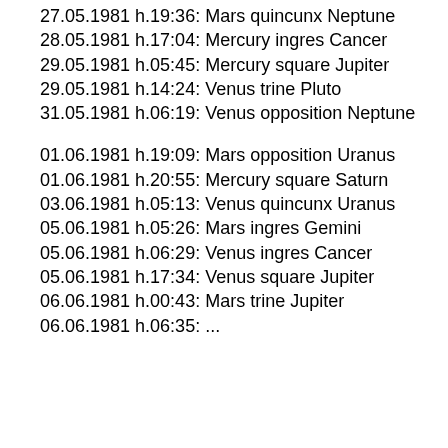27.05.1981 h.19:36: Mars quincunx Neptune
28.05.1981 h.17:04: Mercury ingres Cancer
29.05.1981 h.05:45: Mercury square Jupiter
29.05.1981 h.14:24: Venus trine Pluto
31.05.1981 h.06:19: Venus opposition Neptune
01.06.1981 h.19:09: Mars opposition Uranus
01.06.1981 h.20:55: Mercury square Saturn
03.06.1981 h.05:13: Venus quincunx Uranus
05.06.1981 h.05:26: Mars ingres Gemini
05.06.1981 h.06:29: Venus ingres Cancer
05.06.1981 h.17:34: Venus square Jupiter
06.06.1981 h.00:43: Mars trine Jupiter
06.06.1981 h.06:35: ...